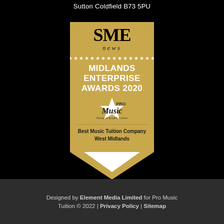Sutton Coldfield B73 5PU
[Figure (illustration): SME News Midlands Enterprise Awards 2020 gold award badge for Pro Music Tuition — Best Music Tuition Company West Midlands. Gold rectangular badge with pointed bottom, stars row, bold white text, Pro Music logo with star.]
Designed by Element Media Limited for Pro Music Tuition © 2022 | Privacy Policy | Sitemap